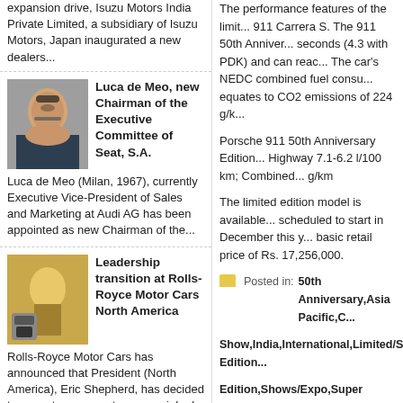expansion drive, Isuzu Motors India Private Limited, a subsidiary of Isuzu Motors, Japan inaugurated a new dealers...
Luca de Meo, new Chairman of the Executive Committee of Seat, S.A.
Luca de Meo (Milan, 1967), currently Executive Vice-President of Sales and Marketing at Audi AG has been appointed as new Chairman of the...
Leadership transition at Rolls-Royce Motor Cars North America
Rolls-Royce Motor Cars has announced that President (North America), Eric Shepherd, has decided to move to a new entrepreneurial role in ...
Daimler opens new Regional Center for commercial...
The performance features of the limit... 911 Carrera S. The 911 50th Anniver... seconds (4.3 with PDK) and can reac... The car's NEDC combined fuel consu... equates to CO2 emissions of 224 g/k...
Porsche 911 50th Anniversary Edition... Highway 7.1-6.2 l/100 km; Combined... g/km
The limited edition model is available... scheduled to start in December this y... basic retail price of Rs. 17,256,000.
Posted in: 50th Anniversary,Asia Pacific,C... Show,India,International,Limited/Special Edition... Edition,Shows/Expo,Super Car/Sports Car